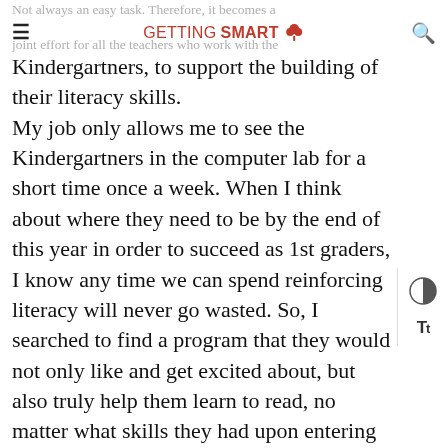Not always an easy task. Therefore, it becomes a joint effort for all the teachers who work with the
GETTING SMART [logo]
Kindergartners, to support the building of their literacy skills. My job only allows me to see the Kindergartners in the computer lab for a short time once a week. When I think about where they need to be by the end of this year in order to succeed as 1st graders, I know any time we can spend reinforcing literacy will never go wasted. So, I searched to find a program that they would not only like and get excited about, but also truly help them learn to read, no matter what skills they had upon entering Kindergarten.By some divine intervention (I'm pretty sure it was a tweet, but I can't remember from who) I found the site Teach Your Monster to Read. The title